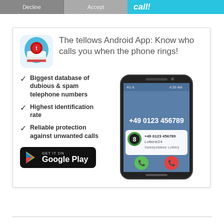[Figure (screenshot): Top banner showing phone call interface with Decline and Accept buttons and a cyan 'call!' label]
[Figure (infographic): Tellows Android App advertisement box with app icon, feature list, Google Play button, and phone mockup showing spam call identification]
The tellows Android App: Know who calls you when the phone rings!
Biggest database of dubious & spam telephone numbers
Highest identification rate
Reliable protection against unwanted calls